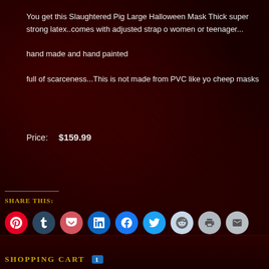You get this Slaughtered Pig Large Halloween Mask Thick super strong latex..comes with adjusted strap women or teenager...
hand made and hand painted
full of scarceness...This is not made from PVC like yo cheep masks
Price:    $159.99
ADD TO CART
SHARE THIS:
[Figure (infographic): Row of social media sharing icons: Pinterest, Tumblr, Pocket, LinkedIn, Facebook, Twitter, Reddit, Print, Email]
SHOPPING CART